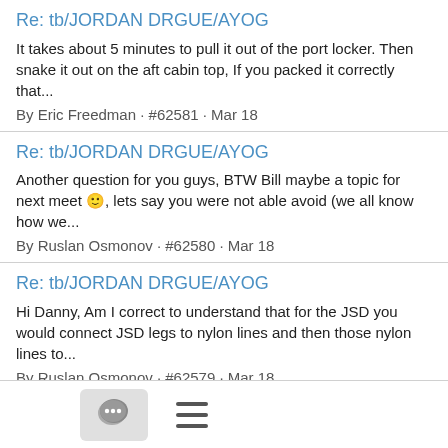Re: tb/JORDAN DRGUE/AYOG
It takes about 5 minutes to pull it out of the port locker. Then snake it out on the aft cabin top, If you packed it correctly that...
By Eric Freedman · #62581 · Mar 18
Re: tb/JORDAN DRGUE/AYOG
Another question for you guys, BTW Bill maybe a topic for next meet 🙂, lets say you were not able avoid (we all know how we...
By Ruslan Osmonov · #62580 · Mar 18
Re: tb/JORDAN DRGUE/AYOG
Hi Danny, Am I correct to understand that for the JSD you would connect JSD legs to nylon lines and then those nylon lines to...
By Ruslan Osmonov · #62579 · Mar 18
Re: tb/JORDAN DRGUE/AYOG
Hi Chuck Your QUOTE I will do everything in my power and wallet (weather routing) to not be in that position UNQUOTE ...
By Teun BAAS · #62578 · Mar 18
[Figure (screenshot): Bottom navigation bar with a chat/comment icon button (speech bubble icon on grey rounded rectangle background) and a hamburger menu icon (three horizontal lines)]